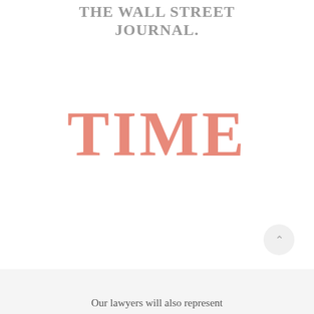[Figure (logo): The Wall Street Journal logo in gray serif text]
[Figure (logo): TIME magazine logo in large pink/salmon serif text]
Our lawyers will also represent